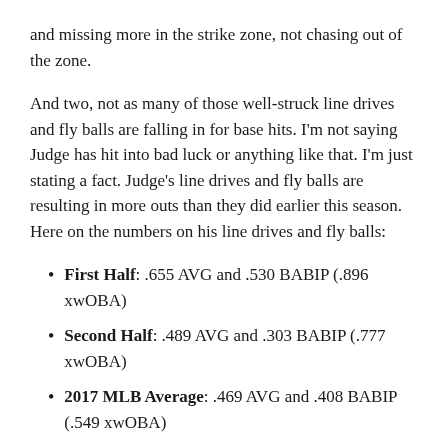and missing more in the strike zone, not chasing out of the zone.
And two, not as many of those well-struck line drives and fly balls are falling in for base hits. I'm not saying Judge has hit into bad luck or anything like that. I'm just stating a fact. Judge's line drives and fly balls are resulting in more outs than they did earlier this season. Here on the numbers on his line drives and fly balls:
First Half: .655 AVG and .530 BABIP (.896 xwOBA)
Second Half: .489 AVG and .303 BABIP (.777 xwOBA)
2017 MLB Average: .469 AVG and .408 BABIP (.549 xwOBA)